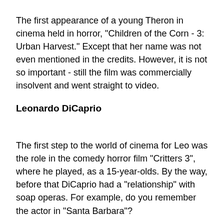The first appearance of a young Theron in cinema held in horror, "Children of the Corn - 3: Urban Harvest." Except that her name was not even mentioned in the credits. However, it is not so important - still the film was commercially insolvent and went straight to video.
Leonardo DiCaprio
The first step to the world of cinema for Leo was the role in the comedy horror film "Critters 3", where he played, as a 15-year-olds. By the way, before that DiCaprio had a "relationship" with soap operas. For example, do you remember the actor in "Santa Barbara"?